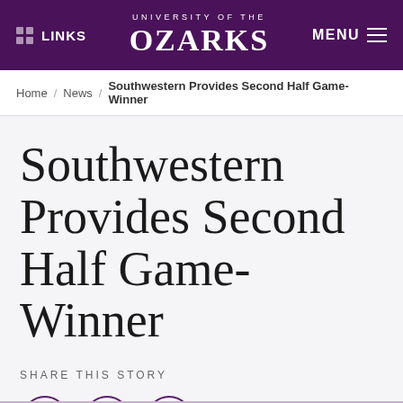LINKS | UNIVERSITY OF THE OZARKS | MENU
Home / News / Southwestern Provides Second Half Game-Winner
Southwestern Provides Second Half Game-Winner
SHARE THIS STORY
[Figure (infographic): Social share icons: Facebook (f), Twitter (bird), Email (envelope), each in a purple circle outline]